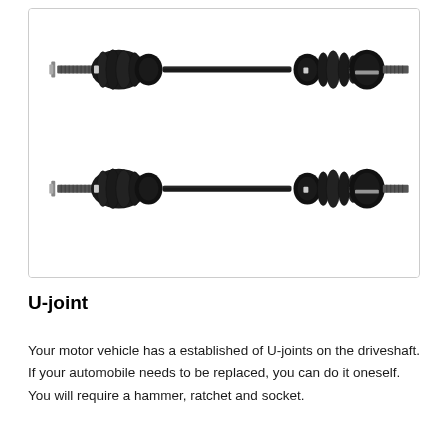[Figure (photo): Two CV axle shafts (drive axles) shown horizontally. Each axle has splined ends, a long central shaft, and CV joint boots (black accordion-style rubber covers) with metal clamps. The components are shown against a white background inside a light gray bordered box.]
U-joint
Your motor vehicle has a established of U-joints on the driveshaft. If your automobile needs to be replaced, you can do it oneself. You will require a hammer, ratchet and socket.